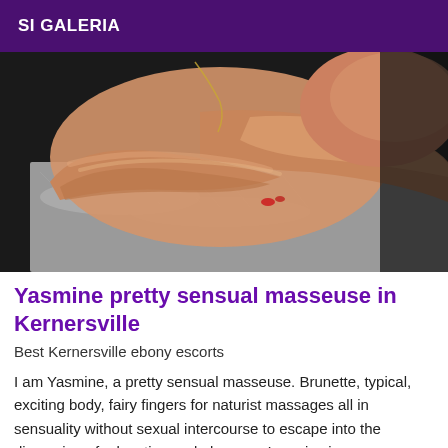SI GALERIA
[Figure (photo): Close-up photo of a woman's arms crossed and resting on a grey fur surface, with bare shoulder visible and red nail polish, dark background on right side.]
Yasmine pretty sensual masseuse in Kernersville
Best Kernersville ebony escorts
I am Yasmine, a pretty sensual masseuse. Brunette, typical, exciting body, fairy fingers for naturist massages all in sensuality without sexual intercourse to escape into the dimension of relaxation and pleasure. I receive in my